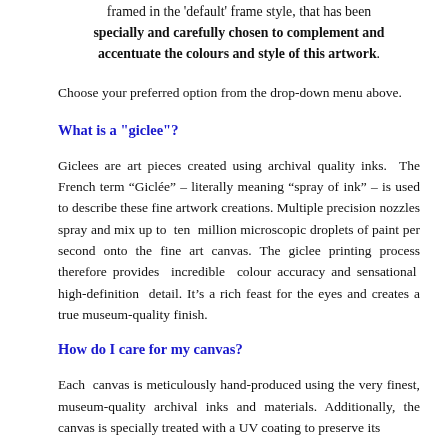framed in the 'default' frame style, that has been specially and carefully chosen to complement and accentuate the colours and style of this artwork.
Choose your preferred option from the drop-down menu above.
What is a "giclee"?
Giclees are art pieces created using archival quality inks.  The French term “Giclée” – literally meaning “spray of ink” – is used to describe these fine artwork creations. Multiple precision nozzles spray and mix up to  ten  million microscopic droplets of paint per second onto the fine art canvas. The giclee printing process therefore provides  incredible  colour accuracy and sensational  high-definition  detail. It’s a rich feast for the eyes and creates a true museum-quality finish.
How do I care for my canvas?
Each  canvas is meticulously hand-produced using the very finest, museum-quality archival inks and materials. Additionally, the canvas is specially treated with a UV coating to preserve its